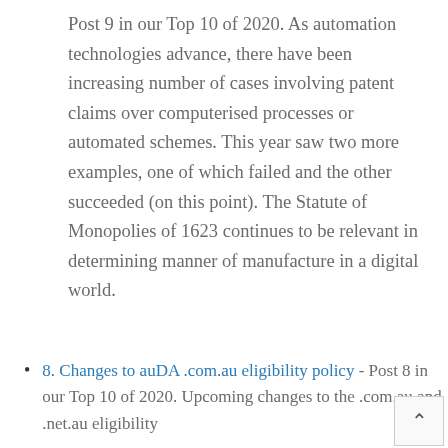Post 9 in our Top 10 of 2020. As automation technologies advance, there have been increasing number of cases involving patent claims over computerised processes or automated schemes. This year saw two more examples, one of which failed and the other succeeded (on this point). The Statute of Monopolies of 1623 continues to be relevant in determining manner of manufacture in a digital world.
8. Changes to auDA .com.au eligibility policy - Post 8 in our Top 10 of 2020. Upcoming changes to the .com.au and .net.au eligibility